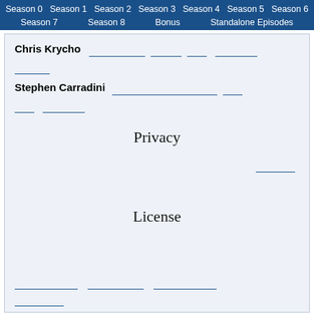Season 0  Season 1  Season 2  Season 3  Season 4  Season 5  Season 6  Season 7  Season 8  Bonus  Standalone Episodes
Chris Krycho [links]
Stephen Carradini [links]
Privacy
License